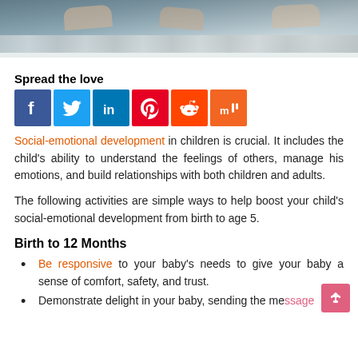[Figure (photo): Children using computers at a desk, partial view showing hands on keyboards from above]
Spread the love
[Figure (infographic): Social media sharing icons: Facebook (blue), Twitter (light blue), LinkedIn (blue), Pinterest (red), Reddit (orange-red), Mix (orange)]
Social-emotional development in children is crucial. It includes the child's ability to understand the feelings of others, manage his emotions, and build relationships with both children and adults.
The following activities are simple ways to help boost your child's social-emotional development from birth to age 5.
Birth to 12 Months
Be responsive to your baby's needs to give your baby a sense of comfort, safety, and trust.
Demonstrate delight in your baby, sending the message